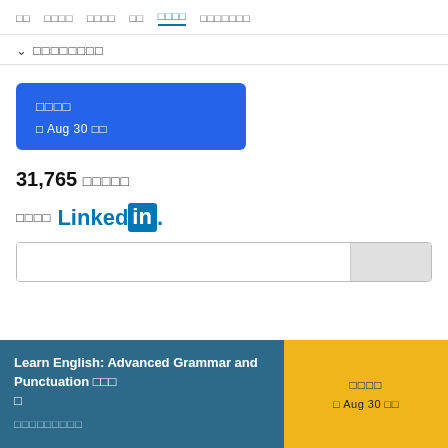■■  ■■■■  ■■■■  ■■  ■■■■  ■■■■■■■
∨ ■■■■■■■■
[Figure (other): Blue enrollment card showing tofu characters and 'Aug 30' date]
31,765 ■■■■■
■■■■ LinkedIn
[Figure (screenshot): Preview of a LinkedIn share card]
Learn English: Advanced Grammar and Punctuation ■■■■  ■■■■■■■■■
[Figure (other): Yellow enrollment button showing tofu characters and 'Aug 30' date]